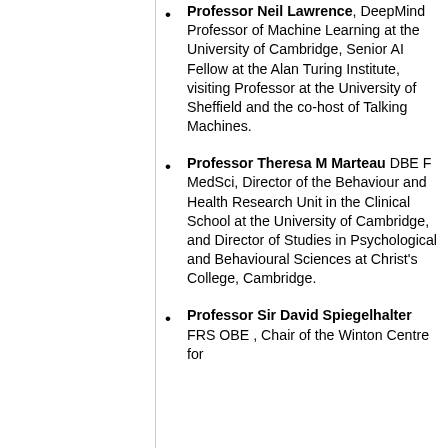Professor Neil Lawrence, DeepMind Professor of Machine Learning at the University of Cambridge, Senior AI Fellow at the Alan Turing Institute, visiting Professor at the University of Sheffield and the co-host of Talking Machines.
Professor Theresa M Marteau DBE F MedSci, Director of the Behaviour and Health Research Unit in the Clinical School at the University of Cambridge, and Director of Studies in Psychological and Behavioural Sciences at Christ's College, Cambridge.
Professor Sir David Spiegelhalter FRS OBE , Chair of the Winton Centre for